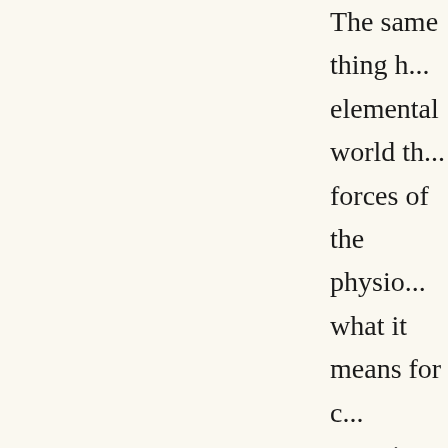The same thing h... elemental world th... forces of the physio... what it means for c... experience someth... the real act of will,... falling unconsciou... we will fall into a k... cannot be discover... What we call the w... elemental world, w... without the suppor... accustomed to it, b... Above all, when w... environment, it is t... awakens. We wish t... the need for sleep... out everything into...